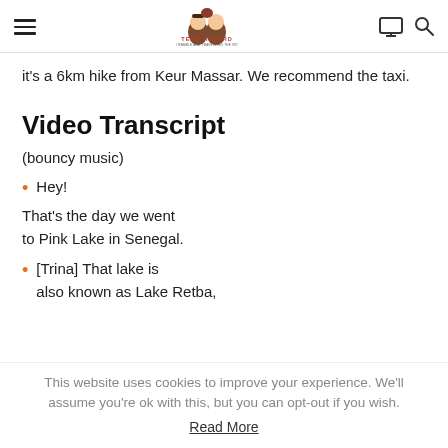[Team Hazard logo] EAT, SET AND RAMBLE AND TRAVELLING THE WORLD ANYWAY
it's a 6km hike from Keur Massar. We recommend the taxi.
Video Transcript
(bouncy music)
Hey!
That's the day we went to Pink Lake in Senegal.
[Trina] That lake is also known as Lake Retba,
This website uses cookies to improve your experience. We'll assume you're ok with this, but you can opt-out if you wish. Read More